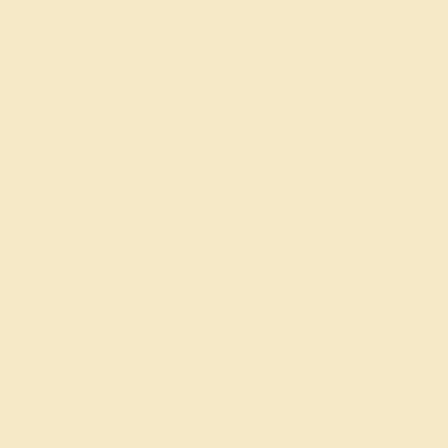Funga...
Source...
Tibetan...
*Gyurm...
Tibetan...
Plants:...
*Toshi...
Mushro...
*Wang...
Tech. P...
Imazek...
Tokyo....
*Kinok...
Mao Xi...
*Yuan ...
Cheng...
*He Xi...
(partial line)
*...